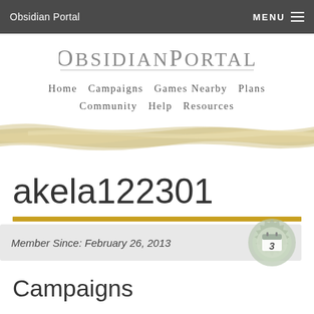Obsidian Portal  MENU ☰
[Figure (logo): Obsidian Portal logo text with underline]
Home  Campaigns  Games Nearby  Plans  Community  Help  Resources
[Figure (illustration): Decorative torn paper / watercolor banner in tan/beige tones]
akela122301
Member Since: February 26, 2013
Campaigns